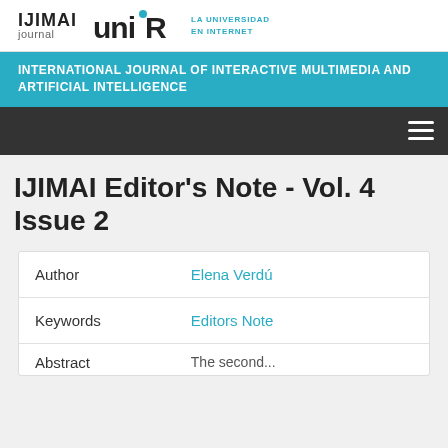IJIMAI journal | UNIR LA UNIVERSIDAD EN INTERNET
INTERNATIONAL JOURNAL OF INTERACTIVE MULTIMEDIA AND ARTIFICIAL INTELLIGENCE
IJIMAI Editor's Note - Vol. 4 Issue 2
|  |  |
| --- | --- |
| Author | Elena Verdú |
| Keywords | Editors Note |
| Abstract | The second... |